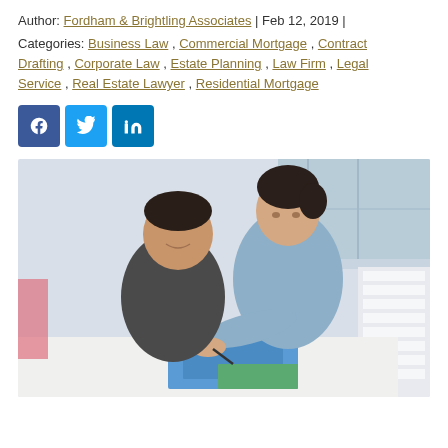Author: Fordham & Brightling Associates | Feb 12, 2019 |
Categories: Business Law , Commercial Mortgage , Contract Drafting , Corporate Law , Estate Planning , Law Firm , Legal Service , Real Estate Lawyer , Residential Mortgage
[Figure (other): Social media share buttons: Facebook (blue square with f), Twitter (blue square with bird), LinkedIn (blue square with in)]
[Figure (photo): Photo of a man and woman sitting at a white table, the woman is leaning over writing on blue paper while the man looks on smiling; architectural model visible in the background right; bright office environment with large windows.]